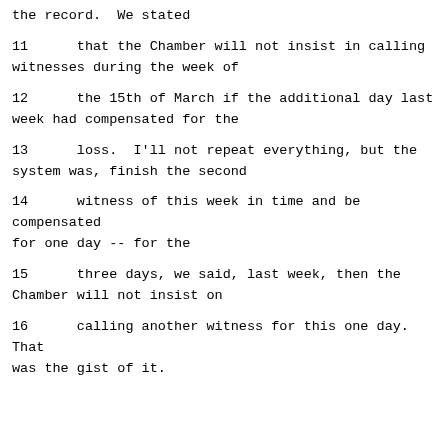the record.  We stated
11      that the Chamber will not insist in calling witnesses during the week of
12      the 15th of March if the additional day last week had compensated for the
13      loss.  I'll not repeat everything, but the system was, finish the second
14      witness of this week in time and be compensated for one day -- for the
15      three days, we said, last week, then the Chamber will not insist on
16      calling another witness for this one day.  That was the gist of it.